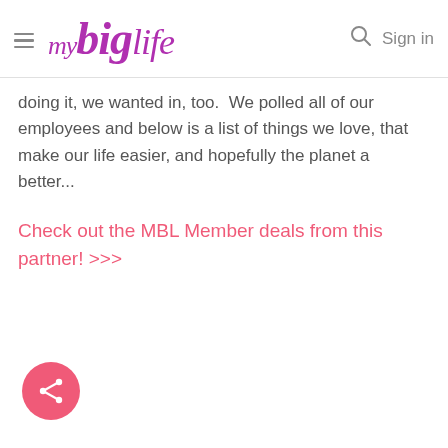my big life — Sign in
doing it, we wanted in, too.  We polled all of our employees and below is a list of things we love, that make our life easier, and hopefully the planet a better...
Check out the MBL Member deals from this partner! >>>
[Figure (other): Pink circular share button with white share icon at bottom left of page]